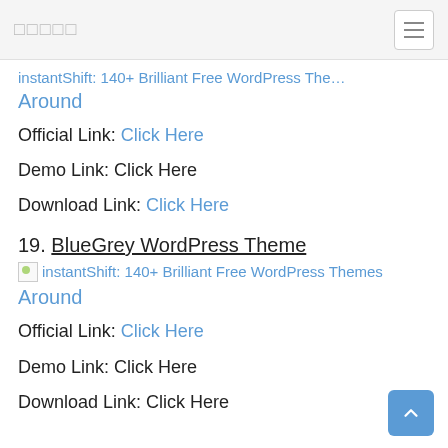□□□□□
instantShift: 140+ Brilliant Free WordPress Themes Around (clipped, link)
Around
Official Link: Click Here
Demo Link: Click Here
Download Link: Click Here
19. BlueGrey WordPress Theme
instantShift: 140+ Brilliant Free WordPress Themes Around
Around
Official Link: Click Here
Demo Link: Click Here
Download Link: Click Here